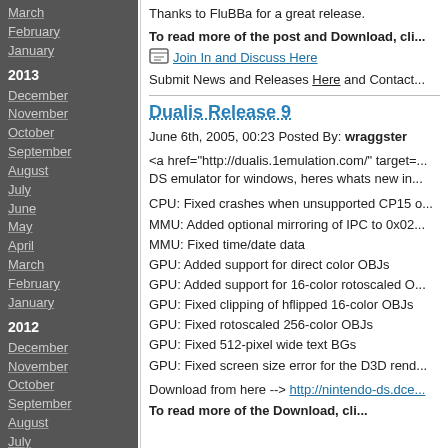March
February
January
2013
December
November
October
September
August
July
June
May
April
March
February
January
2012
December
November
October
September
August
July
June
May
April
March
February
January
2011
December
November
Thanks to FluBBa for a great release.
To read more of the post and Download, cli...
Join In and Discuss Here
Submit News and Releases Here and Contact ...
Dualis Release 9
June 6th, 2005, 00:23 Posted By: wraggster
<a href="http://dualis.1emulation.com/" target=... DS emulator for windows, heres whats new in...
CPU: Fixed crashes when unsupported CP15 o...
MMU: Added optional mirroring of IPC to 0x02...
MMU: Fixed time/date data
GPU: Added support for direct color OBJs
GPU: Added support for 16-color rotoscaled O...
GPU: Fixed clipping of hflipped 16-color OBJs
GPU: Fixed rotoscaled 256-color OBJs
GPU: Fixed 512-pixel wide text BGs
GPU: Fixed screen size error for the D3D rend...
Download from here --> http://nintendo-ds.dce...
To read more of the Download, cli...